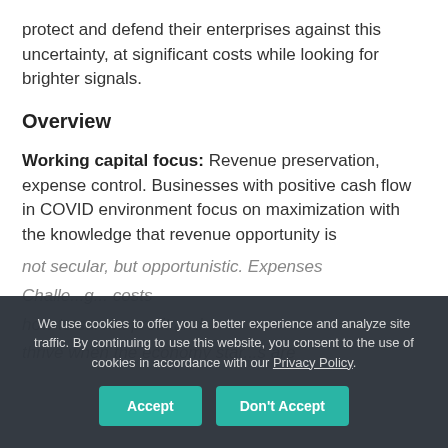protect and defend their enterprises against this uncertainty, at significant costs while looking for brighter signals.
Overview
Working capital focus: Revenue preservation, expense control. Businesses with positive cash flow in COVID environment focus on maximization with the knowledge that revenue opportunity is not secular, but opportunistic. Expenses... Challenges... costs how to survive... profit and thrive when the economy starts... are
We use cookies to offer you a better experience and analyze site traffic. By continuing to use this website, you consent to the use of cookies in accordance with our Privacy Policy.